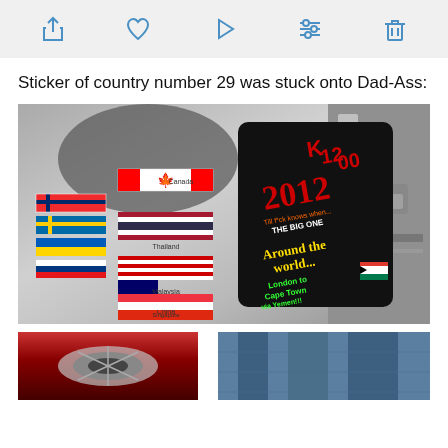[Figure (screenshot): App toolbar with icons: share, heart/like, play, settings/sliders, trash]
Sticker of country number 29 was stuck onto Dad-Ass:
[Figure (photo): Close-up photo of a silver motorcycle pannier/case covered in country flag stickers including Canada, Thailand, Malaysia, China, Singapore and others. A black sticker reads 'K1200 2012, Till f*ck knows when... THE BIG ONE, Around the world... London to Cape Town via Yemen!!!' with a South African flag.]
[Figure (photo): Partial bottom photo showing motorcycle chrome parts and rider in blue jeans, partially cut off at page bottom.]